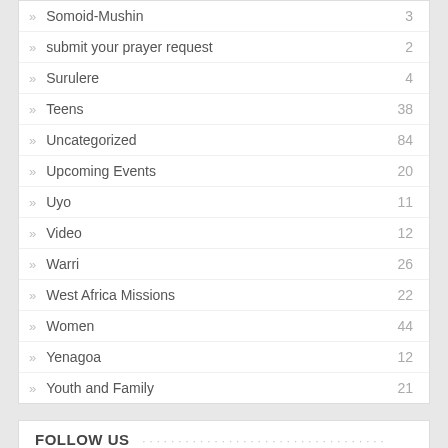Somoid-Mushin 3
submit your prayer request 2
Surulere 4
Teens 38
Uncategorized 84
Upcoming Events 20
Uyo 11
Video 12
Warri 26
West Africa Missions 22
Women 44
Yenagoa 12
Youth and Family 21
FOLLOW US